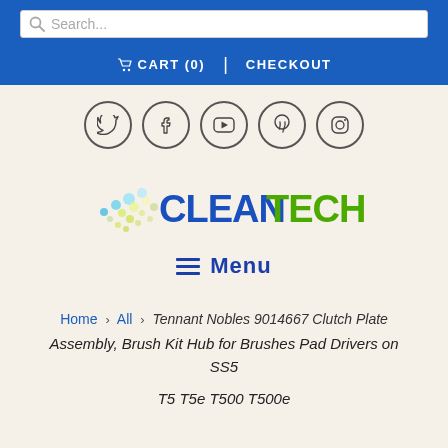[Figure (screenshot): Search bar with magnifying glass icon and placeholder text 'Search...']
CART (0)   CHECKOUT
[Figure (infographic): Social media icons in circles: Twitter, Facebook, YouTube, Pinterest, Instagram]
[Figure (logo): CleanTech logo with colorful dot pattern and blue/green text]
Menu
Home › All › Tennant Nobles 9014667 Clutch Plate Assembly, Brush Kit Hub for Brushes Pad Drivers on SS5 T5 T5e T500 T500e